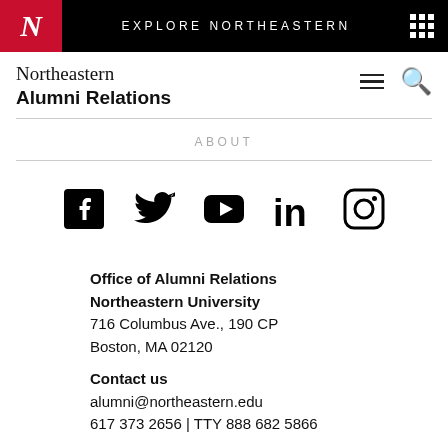EXPLORE NORTHEASTERN
Northeastern
Alumni Relations
ABOUT
[Figure (illustration): Social media icons: Facebook, Twitter, YouTube, LinkedIn, Instagram]
Office of Alumni Relations
Northeastern University
716 Columbus Ave., 190 CP
Boston, MA 02120
Contact us
alumni@northeastern.edu
617 373 2656 | TTY 888 682 5866